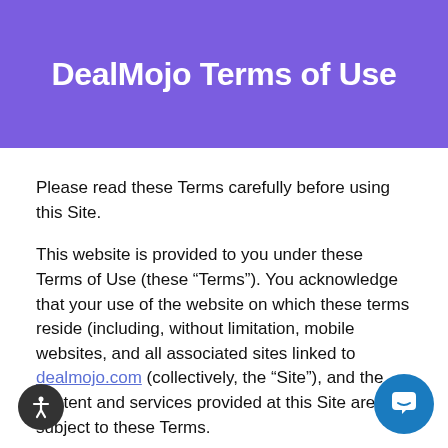DealMojo Terms of Use
Please read these Terms carefully before using this Site.
This website is provided to you under these Terms of Use (these “Terms”). You acknowledge that your use of the website on which these terms reside (including, without limitation, mobile websites, and all associated sites linked to dealmojo.com (collectively, the “Site”), and the content and services provided at this Site are subject to these Terms.